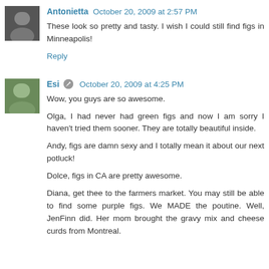Antonietta October 20, 2009 at 2:57 PM
These look so pretty and tasty. I wish I could still find figs in Minneapolis!
Reply
Esi October 20, 2009 at 4:25 PM
Wow, you guys are so awesome.
Olga, I had never had green figs and now I am sorry I haven't tried them sooner. They are totally beautiful inside.
Andy, figs are damn sexy and I totally mean it about our next potluck!
Dolce, figs in CA are pretty awesome.
Diana, get thee to the farmers market. You may still be able to find some purple figs. We MADE the poutine. Well, JenFinn did. Her mom brought the gravy mix and cheese curds from Montreal.